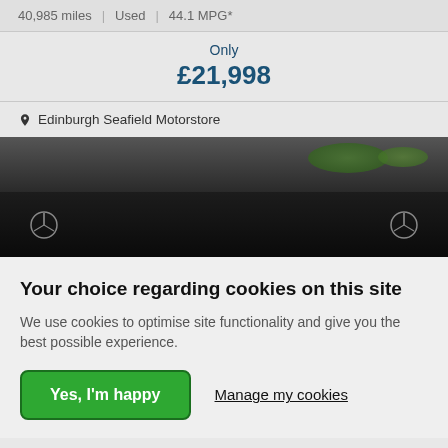40,985 miles | Used | 44.1 MPG*
Only £21,998
Edinburgh Seafield Motorstore
[Figure (photo): Car dashboard interior view from outside windscreen, dark tones with greenery visible outside]
Your choice regarding cookies on this site
We use cookies to optimise site functionality and give you the best possible experience.
Yes, I'm happy
Manage my cookies